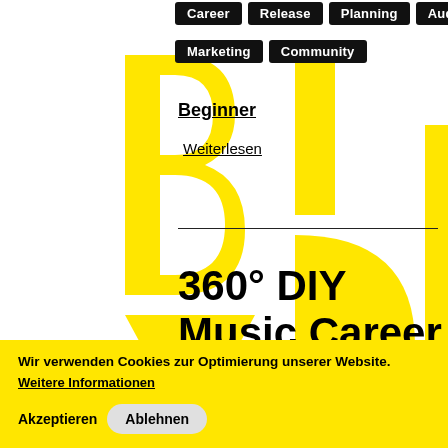Career
Release
Planning
Audience
Marketing
Community
Beginner
Weiterlesen
360° DIY Music Career
Workshop
Flemming Borby
05
Wir verwenden Cookies zur Optimierung unserer Website.
Weitere Informationen
Akzeptieren
Ablehnen